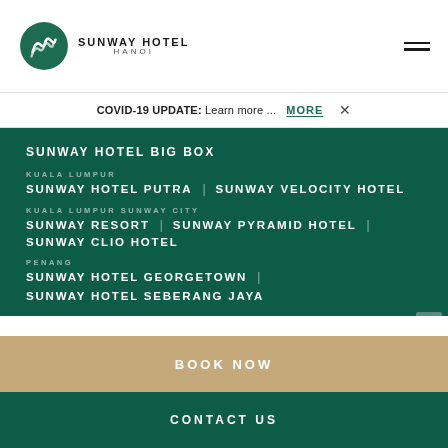[Figure (logo): Sunway Hotel Hanoi logo - green oval with stylized leaf/wave design and hotel name text]
COVID-19 UPDATE: Learn more ... MORE ×
SUNWAY HOTEL BIG BOX
KUALA LUMPUR
SUNWAY HOTEL PUTRA | SUNWAY VELOCITY HOTEL
KUALA LUMPUR SUNWAY CITY
SUNWAY RESORT | SUNWAY PYRAMID HOTEL | SUNWAY CLIO HOTEL
PENANG
SUNWAY HOTEL GEORGETOWN | SUNWAY HOTEL SEBERANG JAYA
BOOK NOW
CONTACT US